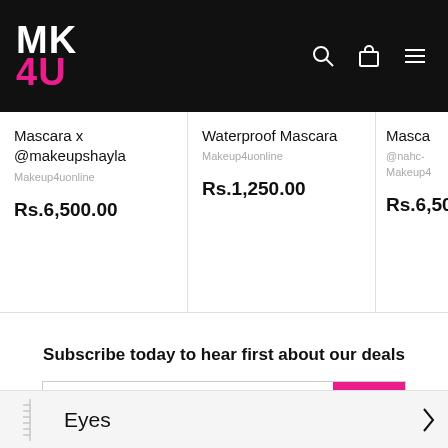[Figure (logo): MK4U logo in white and pink on black header with search, cart, and hamburger menu icons]
Mascara x @makeupshayla
Makeup4uonline
Rs.6,500.00
Waterproof Mascara
Makeup4uonline
Rs.1,250.00
Mascara x @nahc-
Makeup4u
Rs.6,50
Subscribe today to hear first about our deals
Enter your email
Eyes